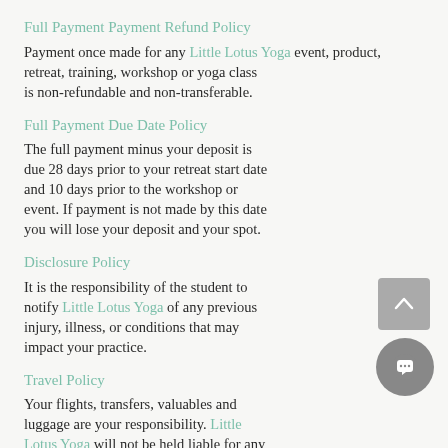Full Payment Payment Refund Policy
Payment once made for any Little Lotus Yoga event, product, retreat, training, workshop or yoga class is non-refundable and non-transferable.
Full Payment Due Date Policy
The full payment minus your deposit is due 28 days prior to your retreat start date and 10 days prior to the workshop or event. If payment is not made by this date you will lose your deposit and your spot.
Disclosure Policy
It is the responsibility of the student to notify Little Lotus Yoga of any previous injury, illness, or conditions that may impact your practice.
Travel Policy
Your flights, transfers, valuables and luggage are your responsibility. Little Lotus Yoga will not be held liable for any